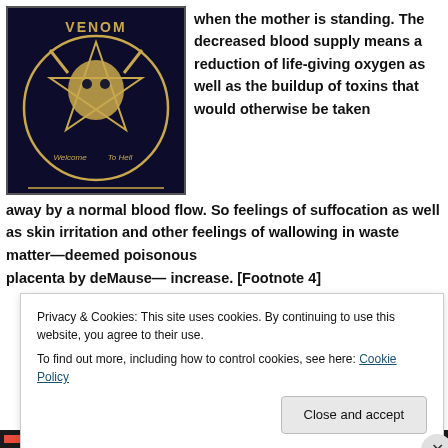[Figure (illustration): Album cover for Venom 'Welcome to Hell' featuring a pentagram with goat head (Baphomet) on dark background]
when the mother is standing. The decreased blood supply means a reduction of life-giving oxygen as well as the buildup of toxins that would otherwise be taken away by a normal blood flow. So feelings of suffocation as well as skin irritation and other feelings of wallowing in waste matter—deemed poisonous placenta by deMause— increase. [Footnote 4]
Privacy & Cookies: This site uses cookies. By continuing to use this website, you agree to their use.
To find out more, including how to control cookies, see here: Cookie Policy
Close and accept